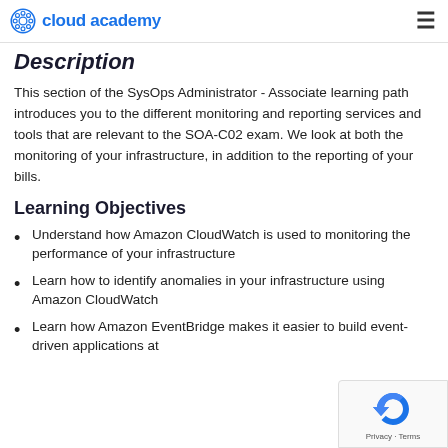cloud academy
Description
This section of the SysOps Administrator - Associate learning path introduces you to the different monitoring and reporting services and tools that are relevant to the SOA-C02 exam. We look at both the monitoring of your infrastructure, in addition to the reporting of your bills.
Learning Objectives
Understand how Amazon CloudWatch is used to monitoring the performance of your infrastructure
Learn how to identify anomalies in your infrastructure using Amazon CloudWatch
Learn how Amazon EventBridge makes it easier to build event-driven applications at